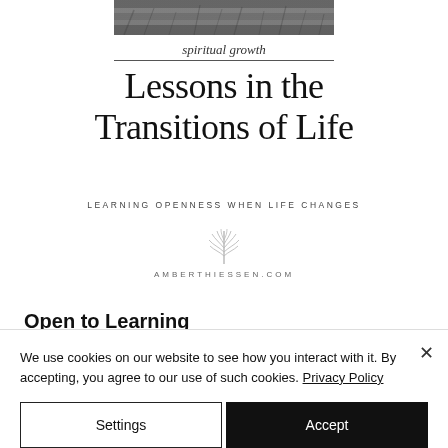[Figure (photo): Partial cropped nature/grass photo strip at top of page]
spiritual growth
Lessons in the Transitions of Life
LEARNING OPENNESS WHEN LIFE CHANGES
[Figure (logo): Palm leaf / fern icon above AMBERTHIESSEN.COM]
AMBERTHIESSEN.COM
Open to Learning
If you've lived overseas, you know it's
We use cookies on our website to see how you interact with it. By accepting, you agree to our use of such cookies. Privacy Policy
Settings
Accept